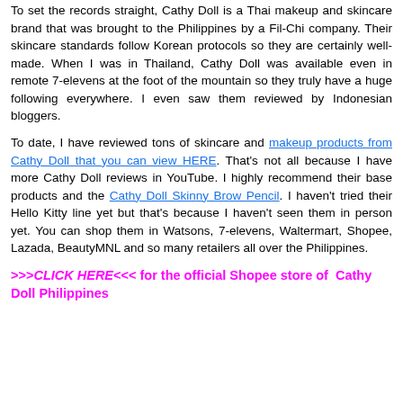To set the records straight, Cathy Doll is a Thai makeup and skincare brand that was brought to the Philippines by a Fil-Chi company. Their skincare standards follow Korean protocols so they are certainly well-made. When I was in Thailand, Cathy Doll was available even in remote 7-elevens at the foot of the mountain so they truly have a huge following everywhere. I even saw them reviewed by Indonesian bloggers.
To date, I have reviewed tons of skincare and makeup products from Cathy Doll that you can view HERE. That's not all because I have more Cathy Doll reviews in YouTube. I highly recommend their base products and the Cathy Doll Skinny Brow Pencil. I haven't tried their Hello Kitty line yet but that's because I haven't seen them in person yet. You can shop them in Watsons, 7-elevens, Waltermart, Shopee, Lazada, BeautyMNL and so many retailers all over the Philippines.
>>>CLICK HERE<<< for the official Shopee store of Cathy Doll Philippines